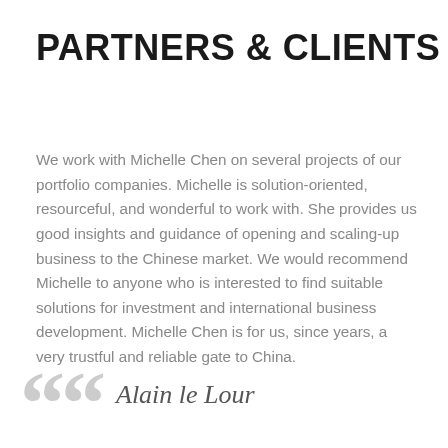PARTNERS & CLIENTS
We work with Michelle Chen on several projects of our portfolio companies. Michelle is solution-oriented, resourceful, and wonderful to work with. She provides us good insights and guidance of opening and scaling-up business to the Chinese market. We would recommend Michelle to anyone who is interested to find suitable solutions for investment and international business development. Michelle Chen is for us, since years, a very trustful and reliable gate to China.
Alain le Lour